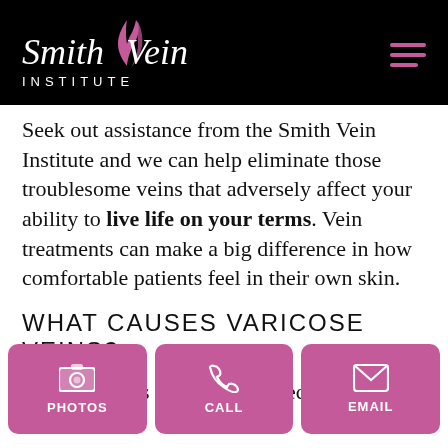[Figure (logo): Smith Vein Institute logo — stylized script text 'Smith Vein' with pink flame/vein icon, and 'INSTITUTE' in smaller caps below, all on black background]
Seek out assistance from the Smith Vein Institute and we can help eliminate those troublesome veins that adversely affect your ability to live life on your terms. Vein treatments can make a big difference in how comfortable patients feel in their own skin.
WHAT CAUSES VARICOSE VEINS?
Varicose veins result from defective valves in
[Figure (infographic): Bottom action bar with three pink buttons: PHOTOS (camera icon), CALL (phone icon), EMAIL (envelope icon)]